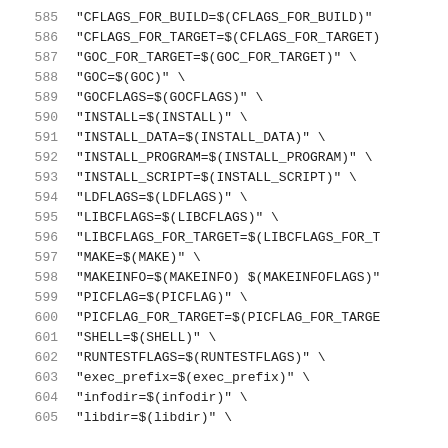585   "CFLAGS_FOR_BUILD=$(CFLAGS_FOR_BUILD)"
586   "CFLAGS_FOR_TARGET=$(CFLAGS_FOR_TARGET)
587   "GOC_FOR_TARGET=$(GOC_FOR_TARGET)" \
588   "GOC=$(GOC)" \
589   "GOCFLAGS=$(GOCFLAGS)" \
590   "INSTALL=$(INSTALL)" \
591   "INSTALL_DATA=$(INSTALL_DATA)" \
592   "INSTALL_PROGRAM=$(INSTALL_PROGRAM)" \
593   "INSTALL_SCRIPT=$(INSTALL_SCRIPT)" \
594   "LDFLAGS=$(LDFLAGS)" \
595   "LIBCFLAGS=$(LIBCFLAGS)" \
596   "LIBCFLAGS_FOR_TARGET=$(LIBCFLAGS_FOR_T
597   "MAKE=$(MAKE)" \
598   "MAKEINFO=$(MAKEINFO) $(MAKEINFOFLAGS)"
599   "PICFLAG=$(PICFLAG)" \
600   "PICFLAG_FOR_TARGET=$(PICFLAG_FOR_TARGE
601   "SHELL=$(SHELL)" \
602   "RUNTESTFLAGS=$(RUNTESTFLAGS)" \
603   "exec_prefix=$(exec_prefix)" \
604   "infodir=$(infodir)" \
605   "libdir=$(libdir)" \